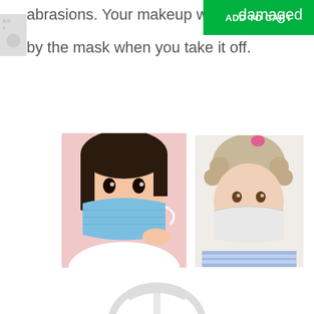abrasions. Your makeup won't be damaged
by the mask when you take it off.
[Figure (photo): Young Asian girl wearing a blue surgical face mask, pulling it away from her face, pink background]
[Figure (photo): Young toddler with curly hair wearing a white face mask, striped shirt]
[Figure (photo): White plastic 3D mask bracket inner support frame]